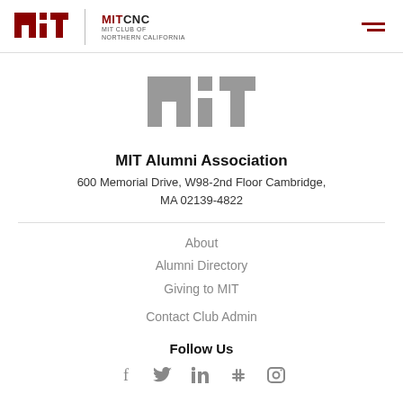MITCNC MIT CLUB OF NORTHERN CALIFORNIA
[Figure (logo): MIT logo in gray, large centered watermark]
MIT Alumni Association
600 Memorial Drive, W98-2nd Floor Cambridge, MA 02139-4822
About
Alumni Directory
Giving to MIT
Contact Club Admin
Follow Us
[Figure (illustration): Social media icons: Facebook, Twitter, LinkedIn, Slack, Instagram]